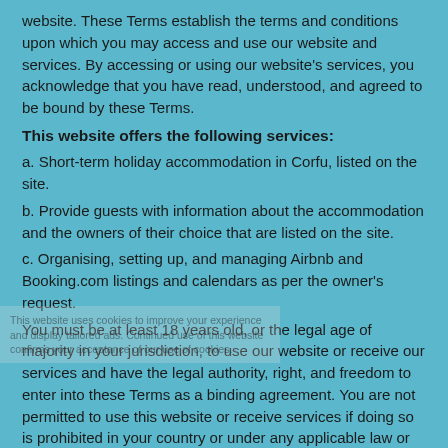website. These Terms establish the terms and conditions upon which you may access and use our website and services. By accessing or using our website's services, you acknowledge that you have read, understood, and agreed to be bound by these Terms.
This website offers the following services:
a. Short-term holiday accommodation in Corfu, listed on the site.
b. Provide guests with information about the accommodation and the owners of their choice that are listed on the site.
c. Organising, setting up, and managing Airbnb and Booking.com listings and calendars as per the owner's request.
You must be at least 18 years old, or the legal age of majority in your jurisdiction, to use our website or receive our services and have the legal authority, right, and freedom to enter into these Terms as a binding agreement. You are not permitted to use this website or receive services if doing so is prohibited in your country or under any applicable law or regulation. When you make a reservation/booking with us, you agree to the following: